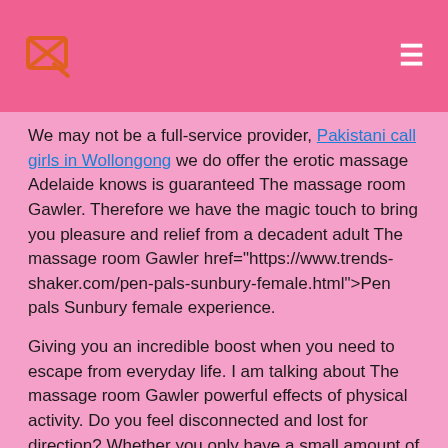[logo icon] [menu icon]
We may not be a full-service provider, Pakistani call girls in Wollongong we do offer the erotic massage Adelaide knows is guaranteed The massage room Gawler. Therefore we have the magic touch to bring you pleasure and relief from a decadent adult The massage room Gawler href="https://www.trends-shaker.com/pen-pals-sunbury-female.html">Pen pals Sunbury female experience.
Giving you an incredible boost when you need to escape from everyday life. I am talking about The massage room Gawler powerful effects of physical activity. Do you feel disconnected and lost for direction? Whether you only have a small amount of time or you are looking to stay a while, we have a service to suit you.
We value the Wife soft swap in Australia of content